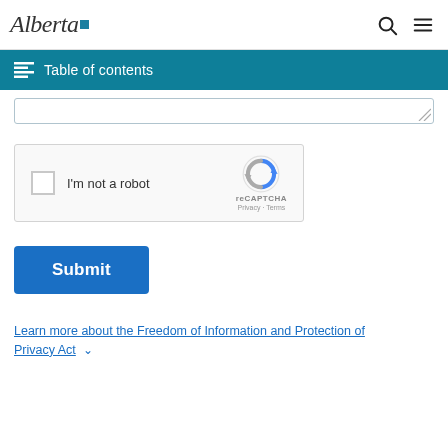Alberta [logo] | Search | Menu
Table of contents
[Figure (screenshot): Partially visible text area input field]
[Figure (screenshot): reCAPTCHA widget showing checkbox 'I am not a robot' with reCAPTCHA logo, Privacy and Terms links]
Submit
Learn more about the Freedom of Information and Protection of Privacy Act